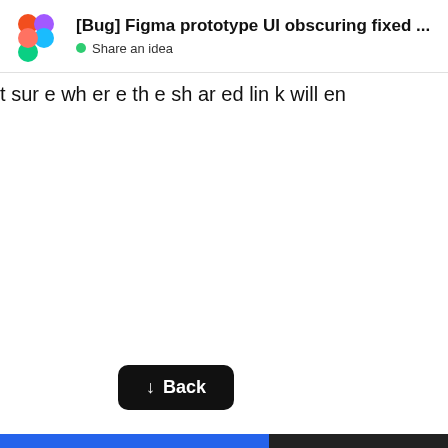[Bug] Figma prototype UI obscuring fixed ... | Share an idea
t
sur
e
wh
er
e
th
e
sh
ar
ed
lin
k
will
en
[Figure (screenshot): Back navigation button — black rounded rectangle with down arrow and text 'Back']
[Figure (infographic): Progress bar at the bottom: blue fill on left (~60%), dark background on right]